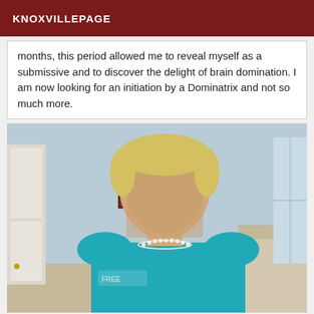KNOXVILLEPAGE
months, this period allowed me to reveal myself as a submissive and to discover the delight of brain domination. I am now looking for an initiation by a Dominatrix and not so much more.
[Figure (photo): A person with blonde short hair and face blurred/obscured, wearing a teal/turquoise top and pearl necklace, seated indoors with light blue walls and a framed picture in the background.]